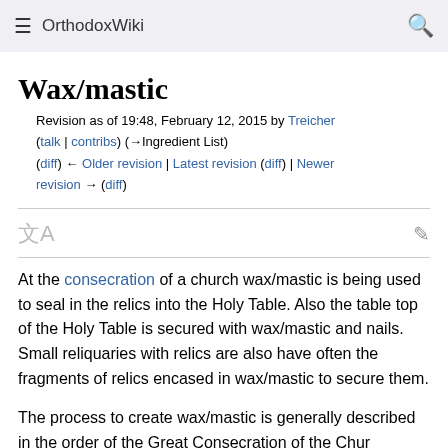OrthodoxWiki
Wax/mastic
Revision as of 19:48, February 12, 2015 by Treicher (talk | contribs) (→Ingredient List) (diff) ← Older revision | Latest revision (diff) | Newer revision → (diff)
At the consecration of a church wax/mastic is being used to seal in the relics into the Holy Table. Also the table top of the Holy Table is secured with wax/mastic and nails. Small reliquaries with relics are also have often the fragments of relics encased in wax/mastic to secure them.
The process to create wax/mastic is generally described in the order of the Great Consecration of the Church…